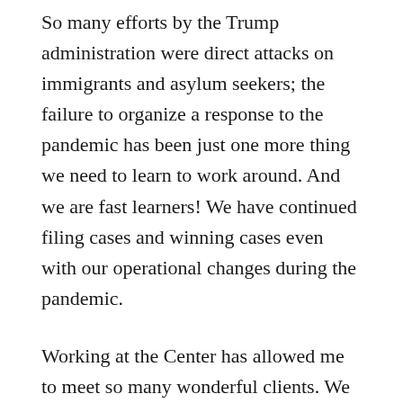So many efforts by the Trump administration were direct attacks on immigrants and asylum seekers; the failure to organize a response to the pandemic has been just one more thing we need to learn to work around. And we are fast learners! We have continued filing cases and winning cases even with our operational changes during the pandemic.
Working at the Center has allowed me to meet so many wonderful clients. We work so hard together and prepare difficult and complex cases. When my clients win their cases, it is such a gift for me, too. There is nothing like seeing a client take the witness stand and successfully tell their story, usually after